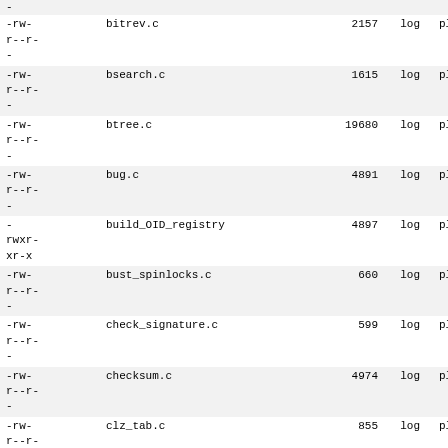| permissions | name | size | log | plain |
| --- | --- | --- | --- | --- |
| -rw-
r--r-
- | bitrev.c | 2157 | log | plain |
| -rw-
r--r-
- | bsearch.c | 1615 | log | plain |
| -rw-
r--r-
- | btree.c | 19680 | log | plain |
| -rw-
r--r-
- | bug.c | 4891 | log | plain |
| -
rwxr-
xr-x | build_OID_registry | 4897 | log | plain |
| -rw-
r--r-
- | bust_spinlocks.c | 660 | log | plain |
| -rw-
r--r-
- | check_signature.c | 599 | log | plain |
| -rw-
r--r-
- | checksum.c | 4974 | log | plain |
| -rw-
r--r-
- | clz_tab.c | 855 | log | plain |